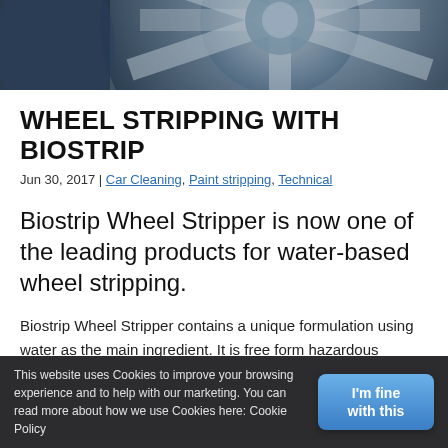[Figure (photo): Close-up photo of a car alloy wheel, showing spokes and hub in blue-grey tones]
WHEEL STRIPPING WITH BIOSTRIP
Jun 30, 2017 | Car Cleaning, Paint stripping, Technical
Biostrip Wheel Stripper is now one of the leading products for water-based wheel stripping.
Biostrip Wheel Stripper contains a unique formulation using water as the main ingredient. It is free form hazardous chemicals such as methylene chloride and hydrofluoric acid commonly found in traditional style 'cold' wheel stripping products.
This website uses Cookies to improve your browsing experience and to help with our marketing. You can read more about how we use Cookies here: Cookie Policy